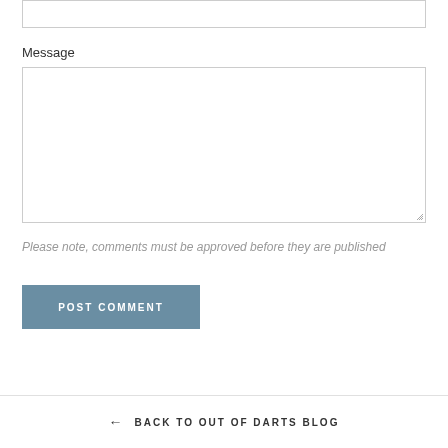Message
Please note, comments must be approved before they are published
POST COMMENT
← BACK TO OUT OF DARTS BLOG